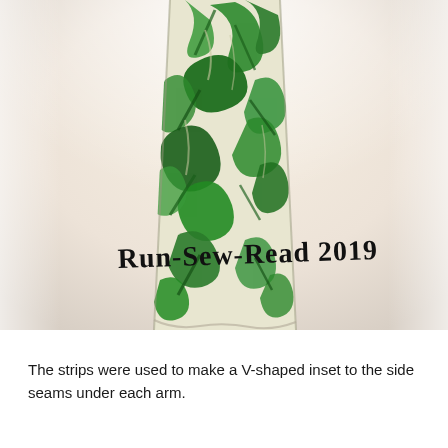[Figure (photo): A close-up photo of a green and white swirling patterned fabric strip laid on a light beige surface. The fabric has an abstract botanical/swirl print in green and white. Handwritten script text 'Run-Sew-Read 2019' appears in the lower-left area of the photo.]
The strips were used to make a V-shaped inset to the side seams under each arm.